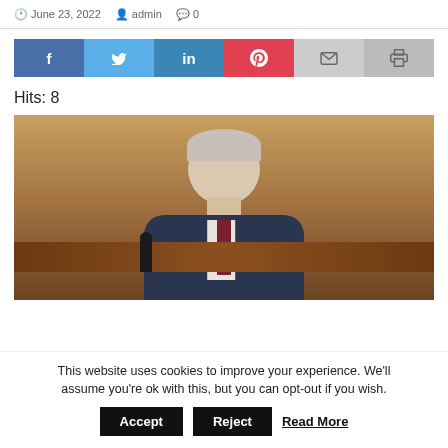June 23, 2022  admin  0
[Figure (infographic): Social share buttons: Facebook (blue), Twitter (light blue), LinkedIn (blue), Pinterest (red), Email (light gray), Print (gray)]
Hits: 8
[Figure (photo): A middle-aged man in a dark navy suit with white shirt and dark red tie, sitting at a hearing table with a microphone, looking serious against a warm wood-toned background.]
This website uses cookies to improve your experience. We'll assume you're ok with this, but you can opt-out if you wish.
Accept  Reject  Read More